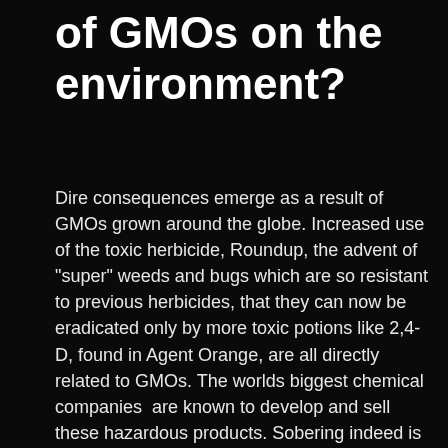of GMOs on the environment?
Dire consequences emerge as a result of GMOs grown around the globe. Increased use of the toxic herbicide, Roundup, the advent of "super" weeds and bugs which are so resistant to previous herbicides, that they can now be eradicated only by more toxic potions like 2,4-D, found in Agent Orange, are all directly related to GMOs. The worlds biggest chemical companies  are known to develop and sell these hazardous products. Sobering indeed is the fact that these products cannot be retrieved once released into the atmosphere.